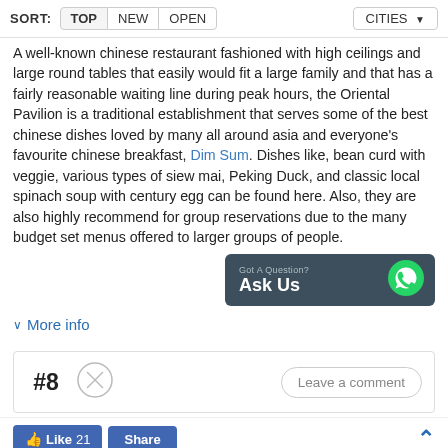SORT: TOP NEW OPEN | CITIES
A well-known chinese restaurant fashioned with high ceilings and large round tables that easily would fit a large family and that has a fairly reasonable waiting line during peak hours, the Oriental Pavilion is a traditional establishment that serves some of the best chinese dishes loved by many all around asia and everyone's favourite chinese breakfast, Dim Sum. Dishes like, bean curd with veggie, various types of siew mai, Peking Duck, and classic local spinach soup with century egg can be found here. Also, they are also highly recommend for group reservations due to the many budget set menus offered to larger groups of people.
[Figure (other): WhatsApp contact banner with text 'Got A Question? Ask Us' and WhatsApp logo icon on dark teal background]
∨ More info
#8
[Figure (other): Circular icon with a cross/cancel symbol]
Leave a comment
👍 Like 21   Share   ∧